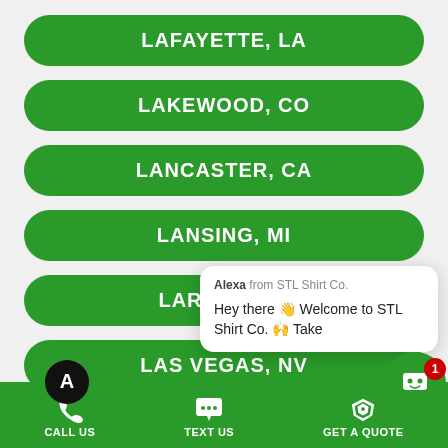LAFAYETTE, LA
LAKEWOOD, CO
LANCASTER, CA
LANSING, MI
LARE[DO, TX] (partially obscured)
LA[S VEGAS, NV] (partially obscured)
LEXINGTON, KY
[Figure (screenshot): Chat popup from Alexa at STL Shirt Co. saying: Hey there 👋 Welcome to STL Shirt Co. 🙌 Take]
CALL US   TEXT US   GET A QUOTE